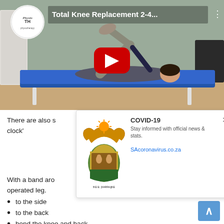[Figure (screenshot): YouTube video thumbnail showing a person lying on a blue physiotherapy table performing a knee exercise. Video title reads 'Total Knee Replacement 2-4...' with a PhysioTH logo in top left, a red YouTube play button in the center, and three-dot menu in top right.]
There are also s... clock'
[Figure (screenshot): COVID-19 popup notification with South African coat of arms logo showing 'COVID-19' heading, 'Stay informed with official news & stats.' subtext, a link to SAcoronavirus.co.za, and an X close button.]
With a band aro... operated leg.
to the side
to the back
bend the knee and back